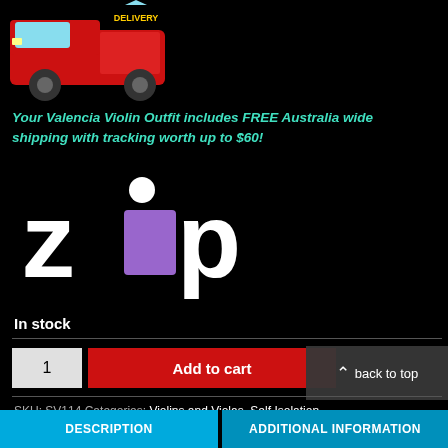[Figure (illustration): Red delivery van with 'DELIVERY' text on a black background, top-left of page]
Your Valencia Violin Outfit includes FREE Australia wide shipping with tracking worth up to $60!
[Figure (logo): Zip payment logo - white text 'zip' with purple square replacing the 'i' dot, white circle above]
In stock
1  Add to cart
back to top
SKU: SV114 Categories: Violins and Violas, Self Isolation
DESCRIPTION  ADDITIONAL INFORMATION